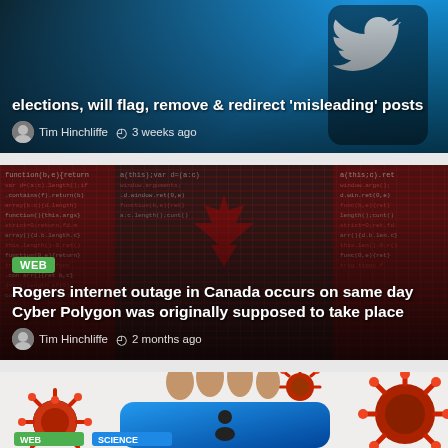[Figure (screenshot): Article card with Twitter/phone image background. Partial headline visible: 'elections, will flag, remove & redirect misleading posts'. Byline: Tim Hinchliffe, 3 weeks ago.]
elections, will flag, remove & redirect 'misleading' posts
Tim Hinchliffe  3 weeks ago
[Figure (screenshot): Article card with Canadian flag made of code/text imagery. Tag: WEB. Headline: 'Rogers internet outage in Canada occurs on same day Cyber Polygon was originally supposed to take place'. Byline: Tim Hinchliffe, 2 months ago.]
Rogers internet outage in Canada occurs on same day Cyber Polygon was originally supposed to take place
Tim Hinchliffe  2 months ago
[Figure (photo): Partial article card showing coronavirus virus particles (red/dark spherical spiky cells) around a phone with blue screen showing a person icon. Green tag visible at bottom.]